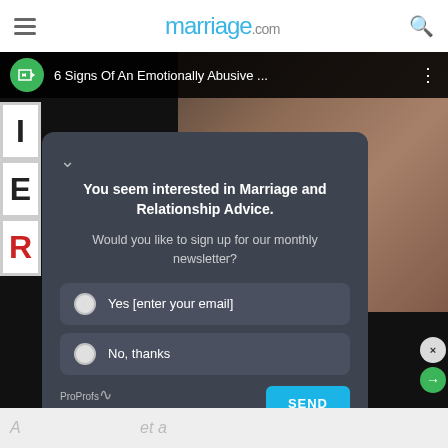marriage.com
[Figure (screenshot): Video thumbnail showing a woman with red hair on a dark background. A black top bar reads '6 Signs Of An Emotionally Abusive ...' with a green circular icon on the left. Letters I, E, R visible on left side.]
You seem interested in Marriage and Relationship Advice.
Would you like to sign up for our monthly newsletter?
Yes [enter your email]
No, thanks
ProProfs Qualaroo
SEND